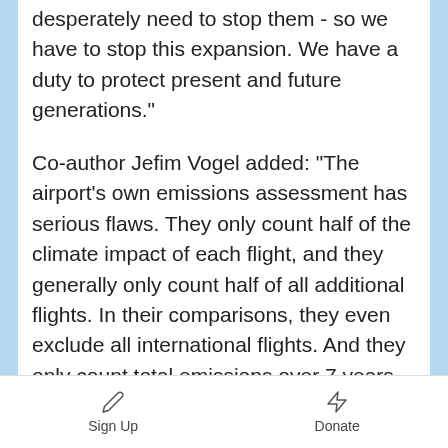desperately need to stop them - so we have to stop this expansion. We have a duty to protect present and future generations."
Co-author Jefim Vogel added: “The airport’s own emissions assessment has serious flaws. They only count half of the climate impact of each flight, and they generally only count half of all additional flights. In their comparisons, they even exclude all international flights. And they only count total emissions over 7 years, when Leeds City Council asked them for a 60-year forecast. When you include everything, the total climate
Sign Up   Donate